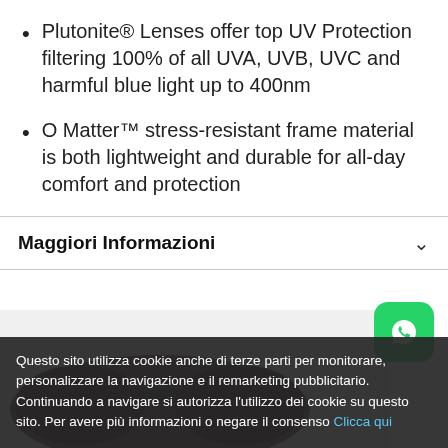Plutonite® Lenses offer top UV Protection filtering 100% of all UVA, UVB, UVC and harmful blue light up to 400nm
O Matter™ stress-resistant frame material is both lightweight and durable for all-day comfort and protection
Maggiori Informazioni
[Figure (photo): Partial view of dark sunglasses product image]
Questo sito utilizza cookie anche di terze parti per monitorare, personalizzare la navigazione e il remarketing pubblicitario. Continuando a navigare si autorizza l'utilizzo dei cookie su questo sito. Per avere più informazioni o negare il consenso Clicca qui